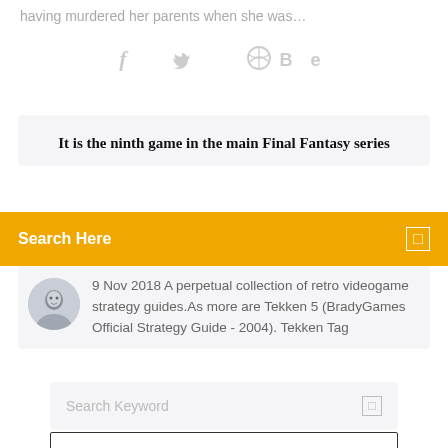having murdered her parents when she was…
[Figure (illustration): Social media share icons: Facebook (f), Twitter (bird), Dribbble (ball), Behance (Be)]
It is the ninth game in the main Final Fantasy series
Search Here
9 Nov 2018 A perpetual collection of retro videogame strategy guides.As more are Tekken 5 (BradyGames Official Strategy Guide - 2004). Tekken Tag
Search Keyword